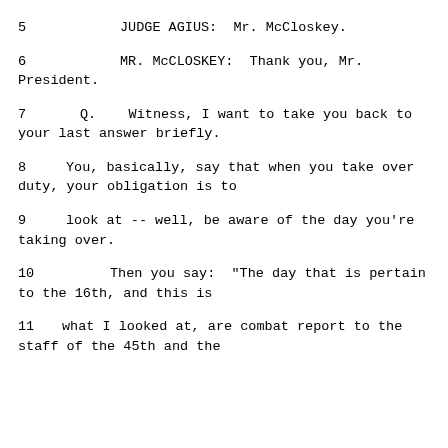5    JUDGE AGIUS:  Mr. McCloskey.
6    MR. McCLOSKEY:  Thank you, Mr. President.
7    Q.   Witness, I want to take you back to your last answer briefly.
8    You, basically, say that when you take over duty, your obligation is to
9    look at -- well, be aware of the day you're taking over.
10   Then you say:  "The day that is pertain to the 16th, and this is
11   what I looked at, are combat report to the staff of the 45th and the